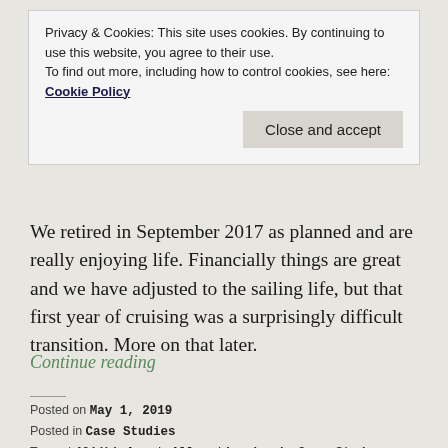Privacy & Cookies: This site uses cookies. By continuing to use this website, you agree to their use. To find out more, including how to control cookies, see here: Cookie Policy
Close and accept
We retired in September 2017 as planned and are really enjoying life. Financially things are great and we have adjusted to the sailing life, but that first year of cruising was a surprisingly difficult transition. More on that later.
Continue reading
Posted on May 1, 2019
Posted in Case Studies
Tagged 401(k), Asset Allocation, bonds, Case Study, equities,